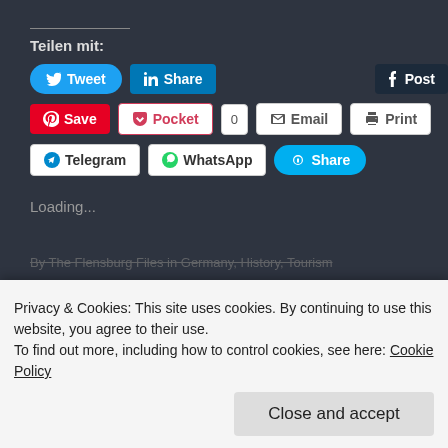Teilen mit:
[Figure (screenshot): Social share buttons: Tweet (Twitter), Share (LinkedIn), Post (Tumblr), Save (Pinterest), Pocket with count 0, Email, Print, Telegram, WhatsApp, Share (Skype)]
Loading...
By The Flensburg Files in Germany, History, Tourism
Privacy & Cookies: This site uses cookies. By continuing to use this website, you agree to their use. To find out more, including how to control cookies, see here: Cookie Policy
Close and accept
Calendar